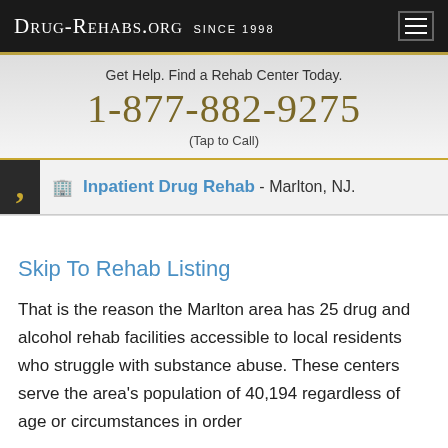Drug-Rehabs.org Since 1998
Get Help. Find a Rehab Center Today.
1-877-882-9275
(Tap to Call)
Inpatient Drug Rehab - Marlton, NJ.
Skip To Rehab Listing
That is the reason the Marlton area has 25 drug and alcohol rehab facilities accessible to local residents who struggle with substance abuse. These centers serve the area's population of 40,194 regardless of age or circumstances in order